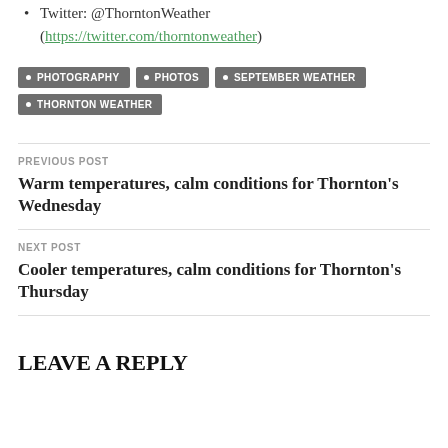Twitter: @ThorntonWeather (https://twitter.com/thorntonweather)
PHOTOGRAPHY • PHOTOS • SEPTEMBER WEATHER • THORNTON WEATHER
PREVIOUS POST
Warm temperatures, calm conditions for Thornton's Wednesday
NEXT POST
Cooler temperatures, calm conditions for Thornton's Thursday
LEAVE A REPLY